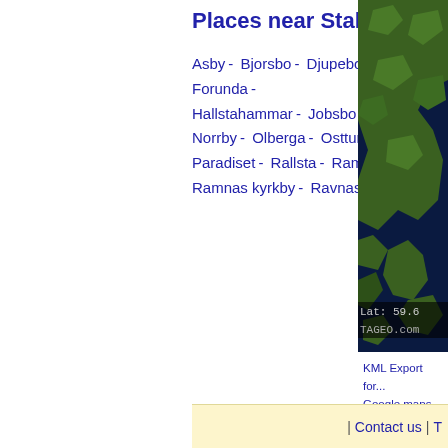Places near Staltorp
Asby - Bjorsbo - Djupebo - Ekeby - Forunda - Hallstahammar - Jobsbo - Norrby - Olberga - Osttuna - Paradiset - Rallsta - Ramnas - Ramnas kyrkby - Ravnas -
[Figure (map): Satellite/topographic map thumbnail showing Scandinavian coastline with green landmass and dark blue sea. Lat: 59.6x label and TAGEO.com watermark visible.]
KML Export for...
Google maps v...
Google links fo...
| Contact us | T